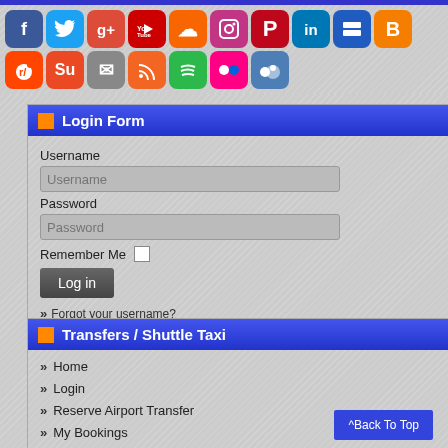[Figure (infographic): Social media icon grid: Facebook, Twitter, Google+, YouTube, SoundCloud, Instagram, Pinterest, LinkedIn, Delicious, Blogger (row 1); Reddit, StumbleUpon, Email, RSS, Spotify, Flickr, Myspace (row 2)]
Login Form
Username
Password
Remember Me
Log in
» Forgot your username?
» Forgot your password?
Transfers / Shuttle Taxi
» Home
» Login
» Reserve Airport Transfer
» My Bookings
» Contact Us
» Sitemap
^Back To Top